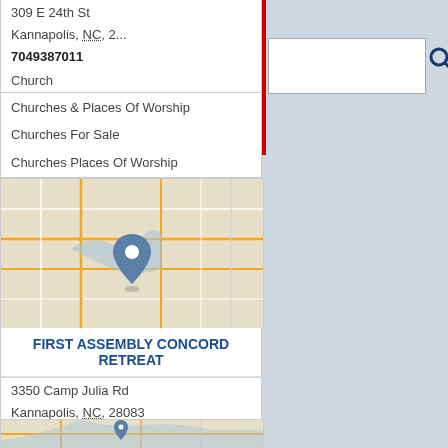309 E 24th St
Kannapolis, NC, 2...
7049387011
Church
Churches & Places Of Worship
Churches For Sale
Churches Places Of Worship
[Figure (map): Street map showing location pin for First Assembly Concord Retreat in Kannapolis, NC area]
FIRST ASSEMBLY CONCORD RETREAT
3350 Camp Julia Rd
Kannapolis, NC, 28083
7049381314
Camp Barnhardt
Camping
Church
Churches & Places Of Worship
Churches For Sale
[Figure (map): Partial street map at bottom of page]